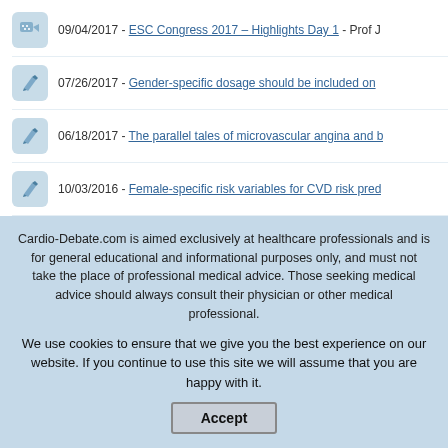09/04/2017 - ESC Congress 2017 – Highlights Day 1 - Prof J
07/26/2017 - Gender-specific dosage should be included on
06/18/2017 - The parallel tales of microvascular angina and b
10/03/2016 - Female-specific risk variables for CVD risk pred
09/09/2016 - Screening and patient awareness in familial hyp
Cardio-Debate.com is aimed exclusively at healthcare professionals and is for general educational and informational purposes only, and must not take the place of professional medical advice. Those seeking medical advice should always consult their physician or other medical professional.
We use cookies to ensure that we give you the best experience on our website. If you continue to use this site we will assume that you are happy with it.
Accept